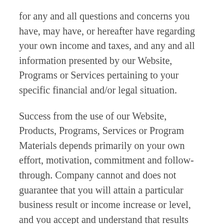for any and all questions and concerns you have, may have, or hereafter have regarding your own income and taxes, and any and all information presented by our Website, Programs or Services pertaining to your specific financial and/or legal situation.
Success from the use of our Website, Products, Programs, Services or Program Materials depends primarily on your own effort, motivation, commitment and follow-through. Company cannot and does not guarantee that you will attain a particular business result or income increase or level, and you accept and understand that results differ by each individual. Each individual's business success depends on his or her background, dedication, desire, and motivation, and a whole host of additional factors. Results may vary, and will be based on many variables, so therefore no guarantees can be made. There can be no assurance